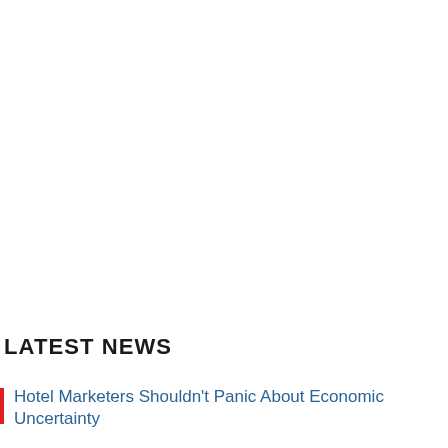LATEST NEWS
Hotel Marketers Shouldn't Panic About Economic Uncertainty